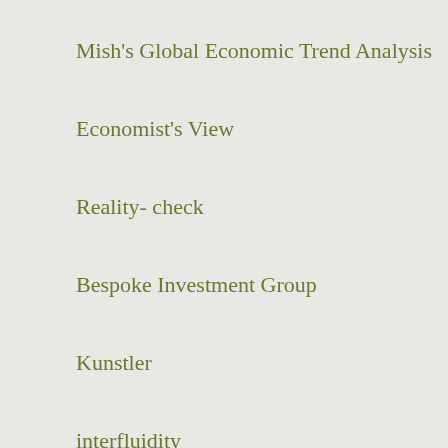Mish's Global Economic Trend Analysis
Economist's View
Reality- check
Bespoke Investment Group
Kunstler
interfluidity
E-piphany
Notes From the Rabbit Hole